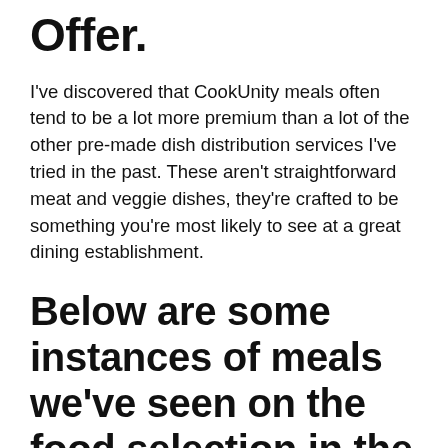Offer.
I've discovered that CookUnity meals often tend to be a lot more premium than a lot of the other pre-made dish distribution services I've tried in the past. These aren't straightforward meat and veggie dishes, they're crafted to be something you're most likely to see at a great dining establishment.
Below are some instances of meals we've seen on the food selection in the past to offer you a suggestion of what you can anticipate.